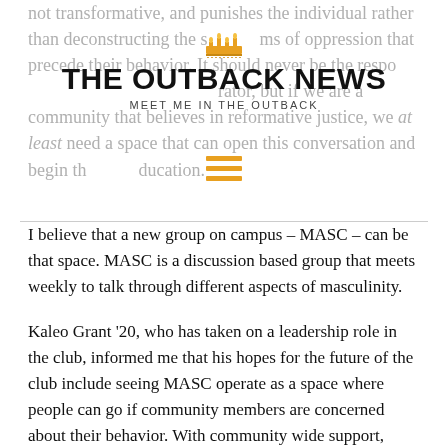not transformative, and punishes the individual rather than deconstructing the systems of oppression that precede their behavior. It should never be the responsibility of the survivor to educate the perpetrator, but if we are a community that believes in reformative justice, we at least need a space that can open this conversation and begin the education.
THE OUTBACK NEWS
MEET ME IN THE OUTBACK
I believe that a new group on campus – MASC – can be that space. MASC is a discussion based group that meets weekly to talk through different aspects of masculinity.
Kaleo Grant '20, who has taken on a leadership role in the club, informed me that his hopes for the future of the club include seeing MASC operate as a space where people can go if community members are concerned about their behavior. With community wide support,